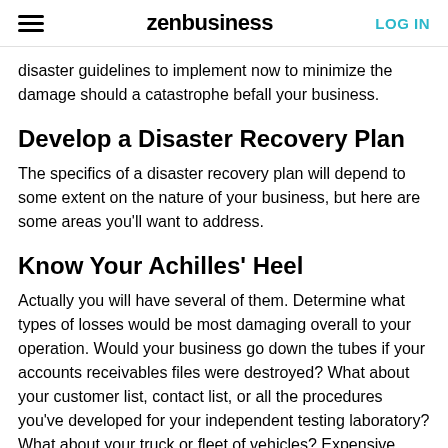zenbusiness | LOG IN
disaster guidelines to implement now to minimize the damage should a catastrophe befall your business.
Develop a Disaster Recovery Plan
The specifics of a disaster recovery plan will depend to some extent on the nature of your business, but here are some areas you'll want to address.
Know Your Achilles' Heel
Actually you will have several of them. Determine what types of losses would be most damaging overall to your operation. Would your business go down the tubes if your accounts receivables files were destroyed? What about your customer list, contact list, or all the procedures you've developed for your independent testing laboratory? What about your truck or fleet of vehicles? Expensive equipment? How long would it take you to get back in